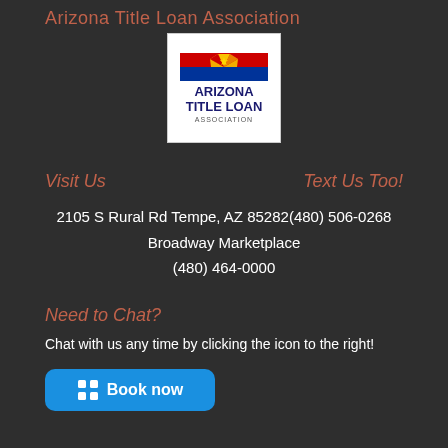Arizona Title Loan Association
[Figure (logo): Arizona Title Loan Association logo with Arizona state flag and bold text]
Visit Us
Text Us Too!
2105 S Rural Rd Tempe, AZ 85282(480) 506-0268
Broadway Marketplace
(480) 464-0000
Need to Chat?
Chat with us any time by clicking the icon to the right!
[Figure (screenshot): Blue Book now button with grid icon]